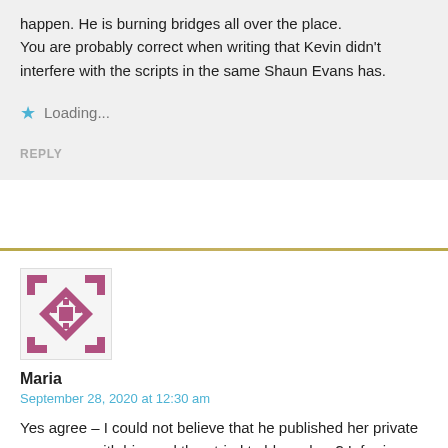happen. He is burning bridges all over the place.
You are probably correct when writing that Kevin didn't interfere with the scripts in the same Shaun Evans has.
Loading...
REPLY
[Figure (illustration): Geometric avatar image with pink/mauve diamond and cross pattern on white background]
Maria
September 28, 2020 at 12:30 am
Yes agree – I could not believe that he published her private messages with him and then tried to blame her ? Inferring that she